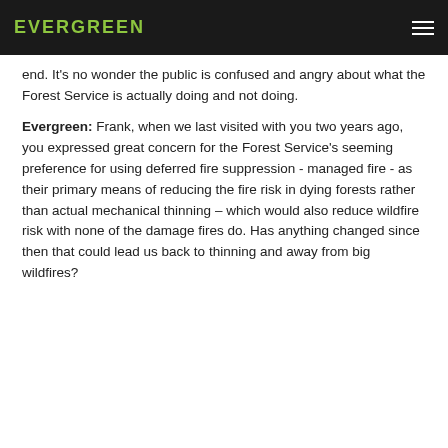EVERGREEN
end. It's no wonder the public is confused and angry about what the Forest Service is actually doing and not doing.
Evergreen: Frank, when we last visited with you two years ago, you expressed great concern for the Forest Service's seeming preference for using deferred fire suppression - managed fire - as their primary means of reducing the fire risk in dying forests rather than actual mechanical thinning – which would also reduce wildfire risk with none of the damage fires do. Has anything changed since then that could lead us back to thinning and away from big wildfires?